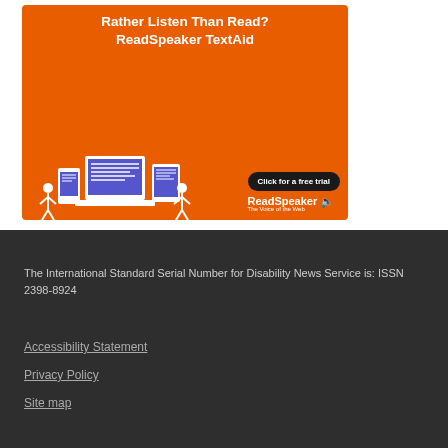[Figure (illustration): ReadSpeaker TextAid advertisement banner on orange background with devices (phone, laptop, tablet) and stick figures, 'Click for a free trial' button]
The International Standard Serial Number for Disability News Service is: ISSN 2398-8924
Accessibility Statement
Privacy Policy
Site map